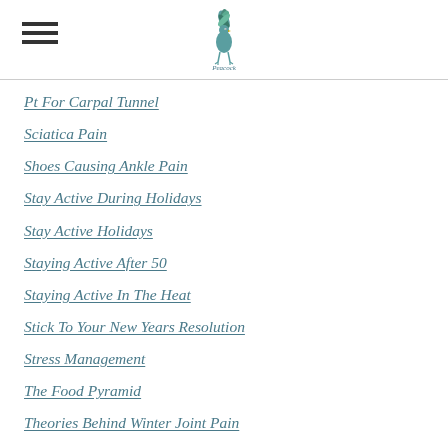Peacock Physical Therapy — navigation menu header
Pt For Carpal Tunnel
Sciatica Pain
Shoes Causing Ankle Pain
Stay Active During Holidays
Stay Active Holidays
Staying Active After 50
Staying Active In The Heat
Stick To Your New Years Resolution
Stress Management
The Food Pyramid
Theories Behind Winter Joint Pain
Tips
Tips For A Healthier Lifestyle
Tips For Back Pain